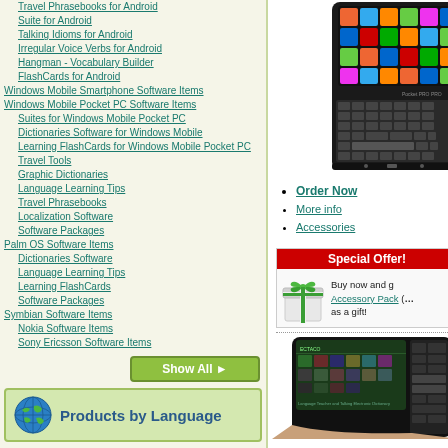Travel Phrasebooks for Android
Suite for Android
Talking Idioms for Android
Irregular Voice Verbs for Android
Hangman - Vocabulary Builder
FlashCards for Android
Windows Mobile Smartphone Software Items
Windows Mobile Pocket PC Software Items
Suites for Windows Mobile Pocket PC
Dictionaries Software for Windows Mobile
Learning FlashCards for Windows Mobile Pocket PC
Travel Tools
Graphic Dictionaries
Language Learning Tips
Travel Phrasebooks
Localization Software
Software Packages
Palm OS Software Items
Dictionaries Software
Language Learning Tips
Learning FlashCards
Software Packages
Symbian Software Items
Nokia Software Items
Sony Ericsson Software Items
[Figure (screenshot): Electronic handheld device (Pocket Pro) with QWERTY keyboard and colorful app screen]
Order Now
More info
Accessories
Special Offer! Buy now and get Accessory Pack (…) as a gift!
Products by Language
Albanian
Arabic
Armenian
Azeri
Japanese
Korean
Latin
Latvian
[Figure (photo): Electronic dictionary device (ECTACO) with screen showing language learning software]